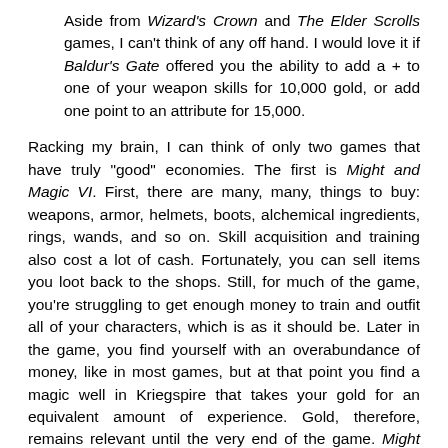Aside from Wizard's Crown and The Elder Scrolls games, I can't think of any off hand. I would love it if Baldur's Gate offered you the ability to add a + to one of your weapon skills for 10,000 gold, or add one point to an attribute for 15,000.
Racking my brain, I can think of only two games that have truly "good" economies. The first is Might and Magic VI. First, there are many, many, things to buy: weapons, armor, helmets, boots, alchemical ingredients, rings, wands, and so on. Skill acquisition and training also cost a lot of cash. Fortunately, you can sell items you loot back to the shops. Still, for much of the game, you're struggling to get enough money to train and outfit all of your characters, which is as it should be. Later in the game, you find yourself with an overabundance of money, like in most games, but at that point you find a magic well in Kriegspire that takes your gold for an equivalent amount of experience. Gold, therefore, remains relevant until the very end of the game. Might and Magic VII and VIII have similar economies in general but lack the magic well. The second is the Hordes of the Underdark expansion to Neverwinter Nights. There are two excellent